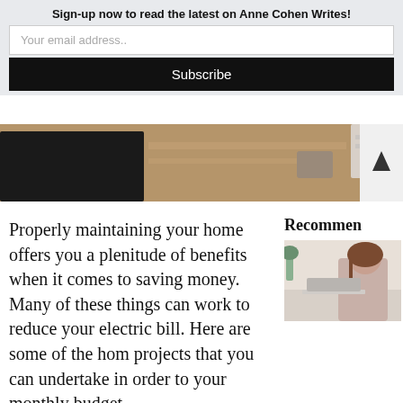Sign-up now to read the latest on Anne Cohen Writes!
Your email address..
Subscribe
[Figure (photo): Partial view of a wooden desk with a dark notebook/tablet, scissors or keys, and folded white fabric/towels — home office scene]
Properly maintaining your home offers you a plenitude of benefits when it comes to saving money. Many of these things can work to reduce your electric bill. Here are some of the home projects that you can undertake in order to your monthly budget.
Recommen
[Figure (photo): A woman with long brown hair sitting at a desk working on a laptop, with a plant in the background — blog recommendation thumbnail]